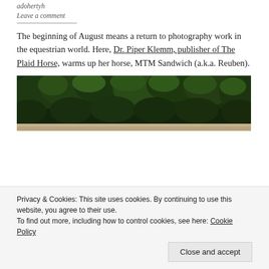adohertyh
Leave a comment
The beginning of August means a return to photography work in the equestrian world. Here, Dr. Piper Klemm, publisher of The Plaid Horse, warms up her horse, MTM Sandwich (a.k.a. Reuben).
[Figure (photo): Outdoor photo showing dense green trees/foliage in background, bottom portion shows ground/arena area]
Privacy & Cookies: This site uses cookies. By continuing to use this website, you agree to their use. To find out more, including how to control cookies, see here: Cookie Policy